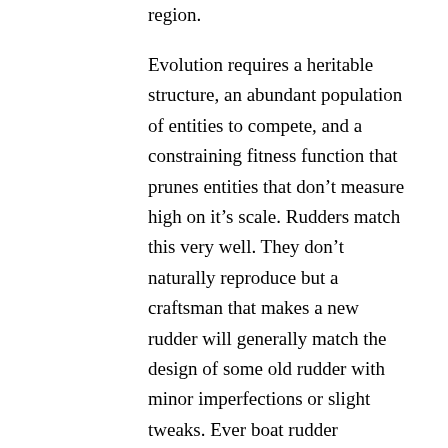region.
Evolution requires a heritable structure, an abundant population of entities to compete, and a constraining fitness function that prunes entities that don't measure high on it's scale. Rudders match this very well. They don't naturally reproduce but a craftsman that makes a new rudder will generally match the design of some old rudder with minor imperfections or slight tweaks. Ever boat rudder competes with the others in a given community and there's no scarcity of rudders. It's easy to tell which rudders are superior to others and one that performs worse than its neighbors will not be selected to pass on its design. Makes for a good example and